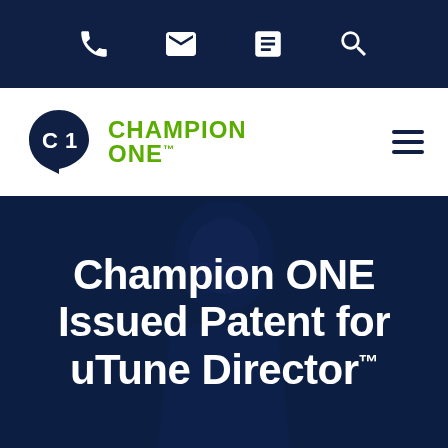[Figure (screenshot): Top navigation bar with dark navy background showing phone, email, document, and search icons in white]
[Figure (logo): Champion ONE logo with dark navy C1 badge and green text reading CHAMPION ONE with trademark symbol]
Champion ONE Issued Patent for uTune Director™